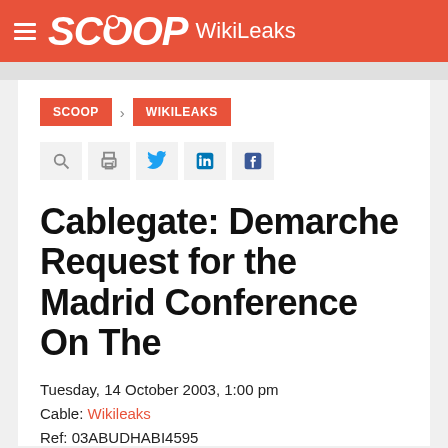SCOOP WikiLeaks
SCOOP > WIKILEAKS
Cablegate: Demarche Request for the Madrid Conference On The
Tuesday, 14 October 2003, 1:00 pm
Cable: Wikileaks
Ref: 03ABUDHABI4595